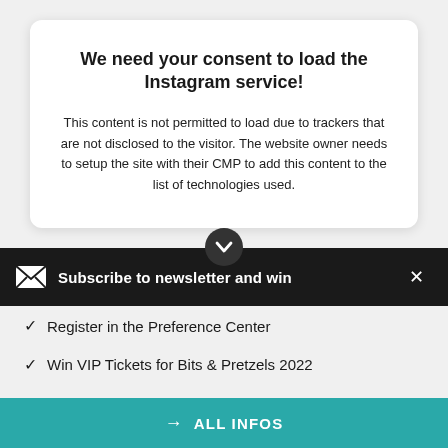We need your consent to load the Instagram service!
This content is not permitted to load due to trackers that are not disclosed to the visitor. The website owner needs to setup the site with their CMP to add this content to the list of technologies used.
Subscribe to newsletter and win
Register in the Preference Center
Win VIP Tickets for Bits & Pretzels 2022
Get Insights from the Sports Business World
→ ALL INFOS